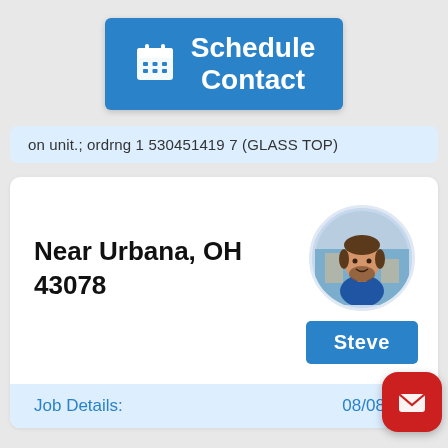[Figure (screenshot): Blue 'Schedule Contact' button with calendar icon]
on unit.; ordrng 1 530451419 7 (GLASS TOP)
Near Urbana, OH 43078
[Figure (photo): Circular profile photo of Steve, a man with a beard wearing a blue shirt]
Steve
Job Details:   08/08/20...
[Figure (other): Red mail FAB button in bottom right corner]